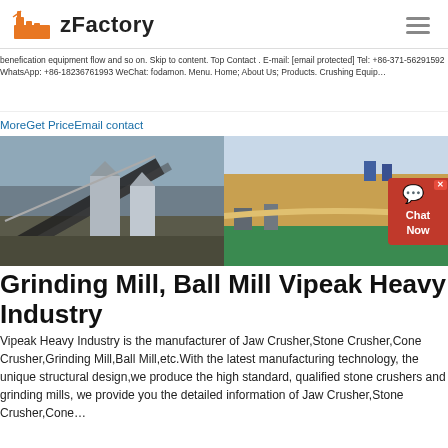zFactory
benefication equipment flow and so on. Skip to content. Top Contact . E-mail: [email protected] Tel: +86-371-56291592 WhatsApp: +86-18236761993 WeChat: fodamon. Menu. Home; About Us; Products. Crushing Equip…
MoreGet PriceEmail contact
[Figure (photo): Two industrial mining/quarry site photos side by side: left shows conveyor belts and silos at a processing plant, right shows an open-pit quarry with green water and machinery.]
Grinding Mill, Ball Mill Vipeak Heavy Industry
Vipeak Heavy Industry is the manufacturer of Jaw Crusher,Stone Crusher,Cone Crusher,Grinding Mill,Ball Mill,etc.With the latest manufacturing technology, the unique structural design,we produce the high standard, qualified stone crushers and grinding mills, we provide you the detailed information of Jaw Crusher,Stone Crusher,Cone…